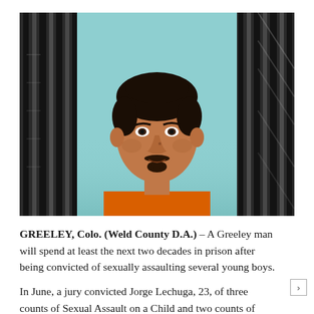[Figure (photo): Composite image: mugshot of Jorge Lechuga, a young man with dark hair and goatee wearing an orange jail shirt, centered against a light blue background, flanked on both sides by black-and-white images of jail bars.]
GREELEY, Colo. (Weld County D.A.) – A Greeley man will spend at least the next two decades in prison after being convicted of sexually assaulting several young boys.
In June, a jury convicted Jorge Lechuga, 23, of three counts of Sexual Assault on a Child and two counts of